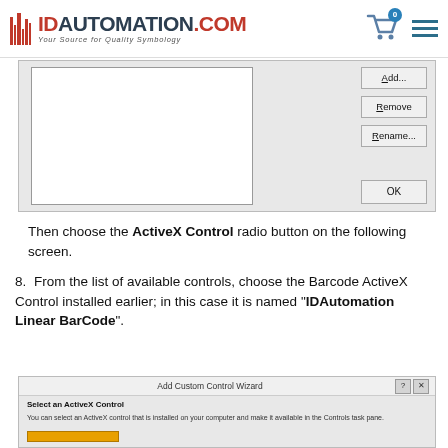IDAutomation.com - Your Source for Quality Symbology
[Figure (screenshot): Dialog window showing a list box with Add..., Remove, Rename... buttons and an OK button at the bottom]
Then choose the ActiveX Control radio button on the following screen.
8. From the list of available controls, choose the Barcode ActiveX Control installed earlier; in this case it is named "IDAutomation Linear BarCode".
[Figure (screenshot): Add Custom Control Wizard dialog showing 'Select an ActiveX Control' with description text about selecting a control installed on your computer]